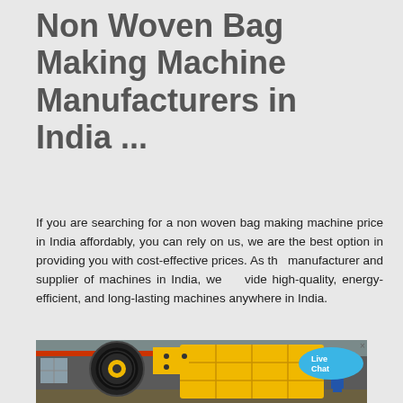Non Woven Bag Making Machine Manufacturers in India ...
If you are searching for a non woven bag making machine price in India affordably, you can rely on us, we are the best option in providing you with cost-effective prices. As the manufacturer and supplier of machines in India, we provide high-quality, energy-efficient, and long-lasting machines anywhere in India.
[Figure (photo): Large yellow industrial jaw crusher machine inside a factory/warehouse, with a worker in blue coveralls and yellow hard hat visible on the right side.]